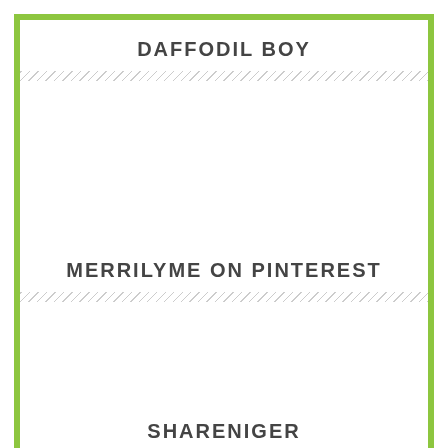DAFFODIL BOY
MERRILYME ON PINTEREST
SHARENIGER
[Figure (other): Broken image icon followed by link text 'Cybher 2013']
This website uses cookies to improve your experience. We'll assume you're ok with this, but you can opt-out if you wish.
Cookie settings
ACCEPT